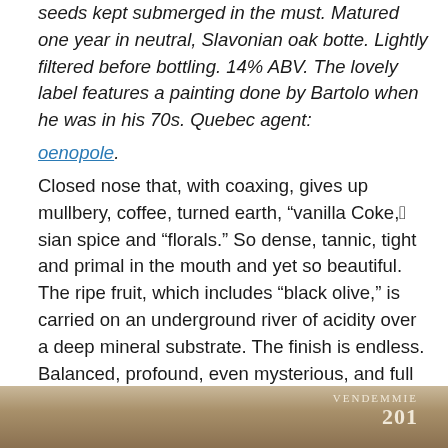seeds kept submerged in the must. Matured one year in neutral, Slavonian oak botte. Lightly filtered before bottling. 14% ABV. The lovely label features a painting done by Bartolo when he was in his 70s. Quebec agent: oenopole.
Closed nose that, with coaxing, gives up mullbery, coffee, turned earth, “vanilla Coke,”Asian spice and “florals.” So dense, tannic, tight and primal in the mouth and yet so beautiful. The ripe fruit, which includes “black olive,” is carried on an underground river of acidity over a deep mineral substrate. The finish is endless. Balanced, profound, even mysterious, and full of potential: clearly a great wine. Give this monolith five years or longer to open up, then prepare to be wowed. (Buy again? Whenever the opportunity presents itself.)
[Figure (photo): Bottom portion of a photo showing what appears to be a wine bottle or related imagery with text reading VENDEMMIE and partial year number (2017 or similar) visible against a warm brown/amber background]